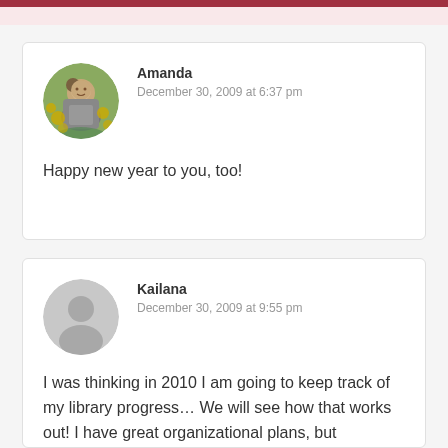Amanda
December 30, 2009 at 6:37 pm

Happy new year to you, too!
Kailana
December 30, 2009 at 9:55 pm

I was thinking in 2010 I am going to keep track of my library progress… We will see how that works out! I have great organizational plans, but